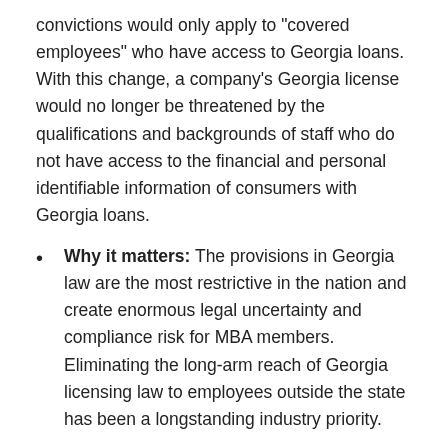convictions would only apply to "covered employees" who have access to Georgia loans. With this change, a company's Georgia license would no longer be threatened by the qualifications and backgrounds of staff who do not have access to the financial and personal identifiable information of consumers with Georgia loans.
Why it matters: The provisions in Georgia law are the most restrictive in the nation and create enormous legal uncertainty and compliance risk for MBA members. Eliminating the long-arm reach of Georgia licensing law to employees outside the state has been a longstanding industry priority.
What's next: SB-470 must be approved by the Georgia House before the Legislature